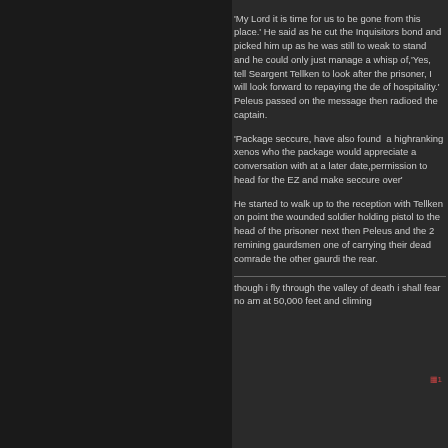'My Lord it is time for us to be gone from this place.' He said as he cut the Inquisitors bond and picked him up as he was still to weak to stand and he could only just manage a whisp of,'Yes, tell Seargent Tellken to look after the prisoner, I will look forward to repaying the de of hospitality.' Peleus passed on the message then radioed the captain.
'Package seccure, have also found  a highranking xenos who the package would appreciate a conversation with at a later date,permission to head for the EZ and make seccure over'
He started to walk up to the reception with Tellken on point the wounded soldier holding pistol to the head of the prisoner next then Peleus and the 2 remining gaurdsmen one of carrying their dead comrade the other gaurdis the rear.
though i fly through the valley of death i shall fear no am at 50,000 feet and climing